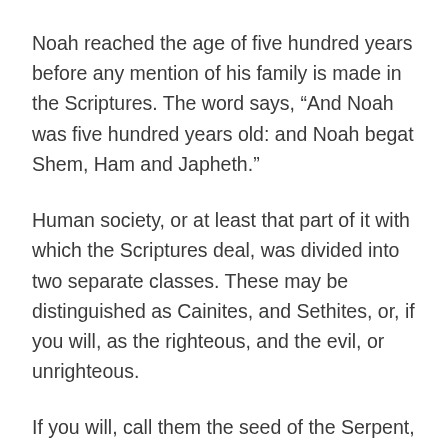Noah reached the age of five hundred years before any mention of his family is made in the Scriptures. The word says, “And Noah was five hundred years old: and Noah begat Shem, Ham and Japheth.”
Human society, or at least that part of it with which the Scriptures deal, was divided into two separate classes. These may be distinguished as Cainites, and Sethites, or, if you will, as the righteous, and the evil, or unrighteous.
If you will, call them the seed of the Serpent, and the seed of woman, between whom God said there should always be enmity. But in the days of Noah,